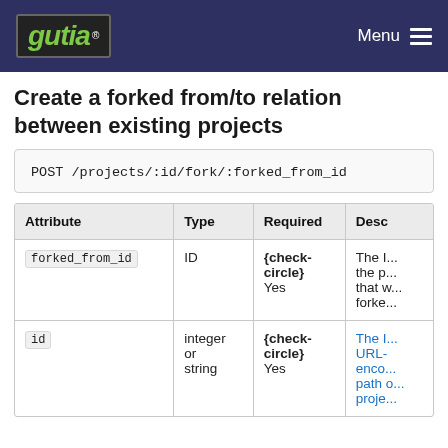gutia Menu
Create a forked from/to relation between existing projects
POST /projects/:id/fork/:forked_from_id
| Attribute | Type | Required | Desc |
| --- | --- | --- | --- |
| forked_from_id | ID | {check-circle} Yes | The I... the p... that w... forke... |
| id | integer or string | {check-circle} Yes | The I... URL-enco... path o... proje... |